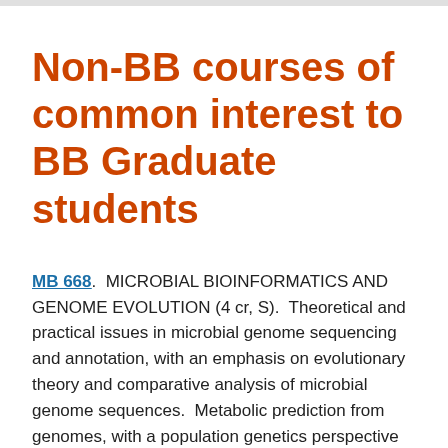Non-BB courses of common interest to BB Graduate students
MB 668.  MICROBIAL BIOINFORMATICS AND GENOME EVOLUTION (4 cr, S).  Theoretical and practical issues in microbial genome sequencing and annotation, with an emphasis on evolutionary theory and comparative analysis of microbial genome sequences.  Metabolic prediction from genomes, with a population genetics perspective on comparative microbial genomics.  Exploration of applications of genomics and allied tools to microbial